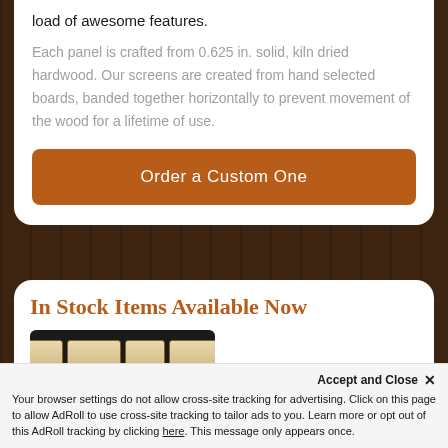load of awesome features.
Each panel is crafted from 0.625 in. solid, kiln dried hardwood. Our screens are created from hand selected boards, banded together horizontally to prevent movement of the wood for a lifetime of use.
Order a Custom One
In Stock Items Available Now
[Figure (photo): Product photo showing wooden screen panels on dark background]
Accept and Close ✕
Your browser settings do not allow cross-site tracking for advertising. Click on this page to allow AdRoll to use cross-site tracking to tailor ads to you. Learn more or opt out of this AdRoll tracking by clicking here. This message only appears once.